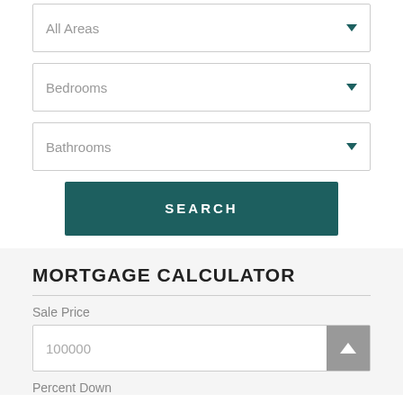All Areas
Bedrooms
Bathrooms
SEARCH
MORTGAGE CALCULATOR
Sale Price
100000
Percent Down